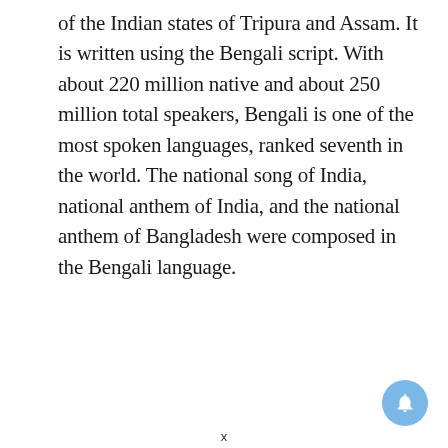of the Indian states of Tripura and Assam. It is written using the Bengali script. With about 220 million native and about 250 million total speakers, Bengali is one of the most spoken languages, ranked seventh in the world. The national song of India, national anthem of India, and the national anthem of Bangladesh were composed in the Bengali language.
Advertisement